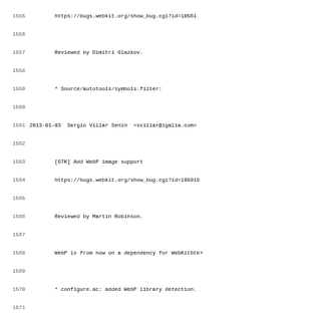Source code changelog / version control log showing lines 1555-1587 of a WebKit ChangeLog file, with entries from 2013-01-03 (Sergio Villar Senin), 2013-01-07 (Xianzhu Wang), and 2013-01-04 (Adam Klein).